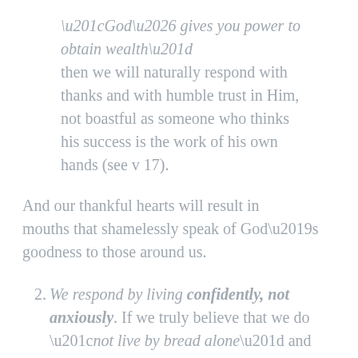“God… gives you power to obtain wealth” then we will naturally respond with thanks and with humble trust in Him, not boastful as someone who thinks his success is the work of his own hands (see v 17).
And our thankful hearts will result in mouths that shamelessly speak of God’s goodness to those around us.
2. We respond by living confidently, not anxiously. If we truly believe that we do “not live by bread alone” and that God